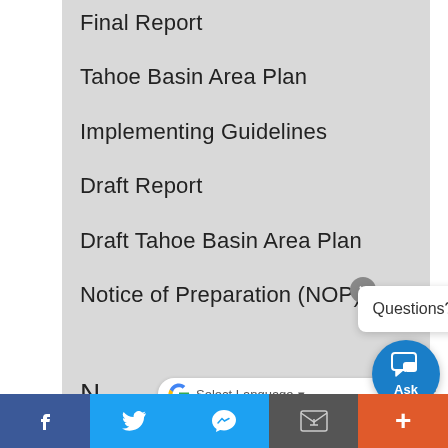Final Report
Tahoe Basin Area Plan
Implementing Guidelines
Draft Report
Draft Tahoe Basin Area Plan
Notice of Preparation (NOP)
N... ments
Questions?
f  [Twitter]  [Messenger]  [Email]  +